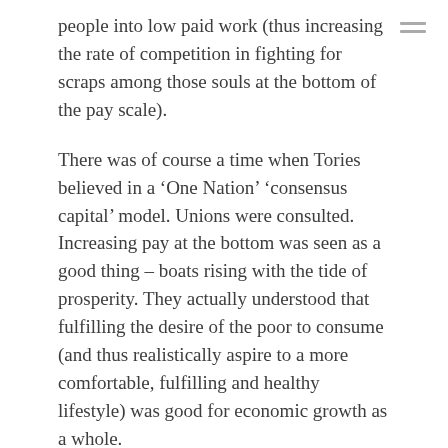people into low paid work (thus increasing the rate of competition in fighting for scraps among those souls at the bottom of the pay scale).
There was of course a time when Tories believed in a ‘One Nation’ ‘consensus capital’ model. Unions were consulted. Increasing pay at the bottom was seen as a good thing – boats rising with the tide of prosperity. They actually understood that fulfilling the desire of the poor to consume (and thus realistically aspire to a more comfortable, fulfilling and healthy lifestyle) was good for economic growth as a whole.
The new right – revolution within capitalist politics